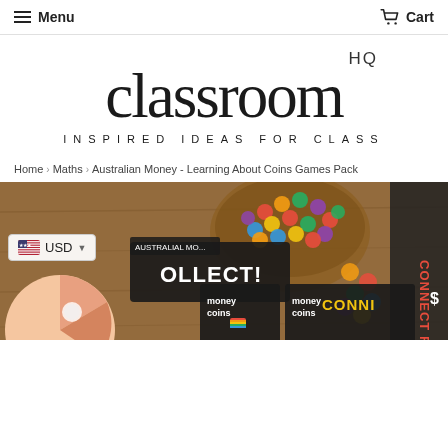Menu  Cart
[Figure (logo): Classroom HQ logo with text 'classroom HQ' and tagline 'INSPIRED IDEAS FOR CLASS']
Home › Maths › Australian Money - Learning About Coins Games Pack
[Figure (photo): Product photo showing Australian money coins learning games pack items on a wooden table, including colorful counting chips in a bowl, game cards with 'COLLECT!' and 'CONNECT FOUR' titles, money coins cards, and a pie chart spinner. A USD currency selector badge is overlaid bottom-left.]